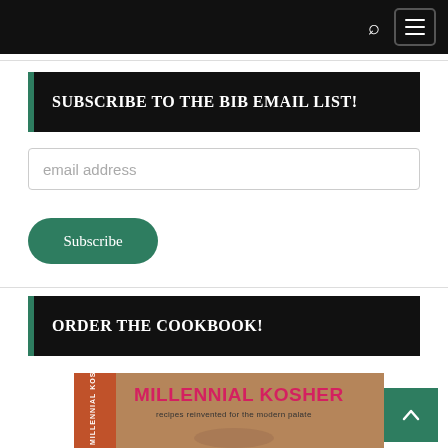Navigation bar with search and menu icons
SUBSCRIBE TO THE BIB EMAIL LIST!
email address
Subscribe
ORDER THE COOKBOOK!
[Figure (photo): Book cover of 'Millennial Kosher: recipes reinvented for the modern palate']